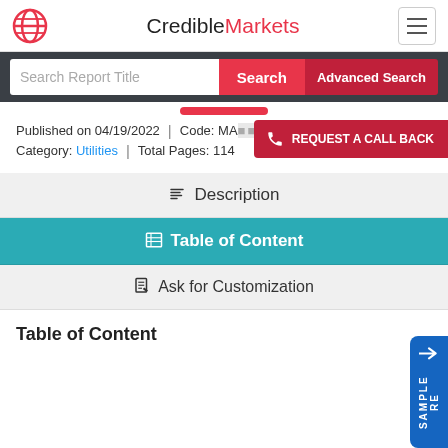CredibleMarkets
Search Report Title | Search | Advanced Search
Published on 04/19/2022 | Code: MA_ | Category: Utilities | Total Pages: 114
REQUEST A CALL BACK
Description
Table of Content
Ask for Customization
Table of Content